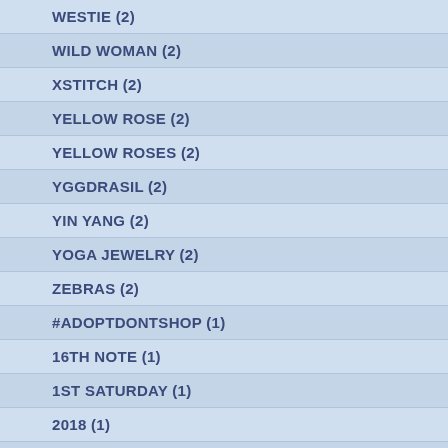WESTIE (2)
WILD WOMAN (2)
XSTITCH (2)
YELLOW ROSE (2)
YELLOW ROSES (2)
YGGDRASIL (2)
YIN YANG (2)
YOGA JEWELRY (2)
ZEBRAS (2)
#ADOPTDONTSHOP (1)
16TH NOTE (1)
1ST SATURDAY (1)
2018 (1)
3 (1)
AAA QUARTZ (1)
ABALONE (1)
ABSTRACT ART (1)
ABUNDANCE (1)